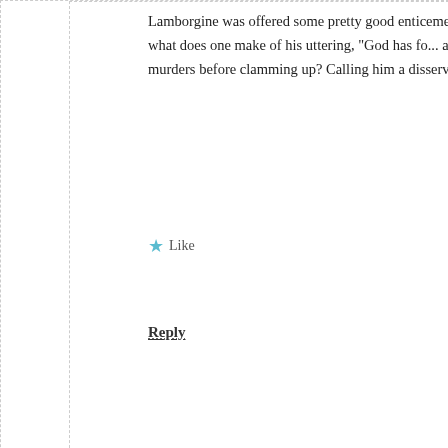Lamborgine was offered some pretty good enticements. And what does one make of his uttering, "God has for... about the murders before clamming up? Calling him a disservice to shit.
Like
Reply
Justin Sanity
Hi Cathy! I'm "WGR" from the topix forum (and ancient history, now) come prefaced with acknowledgement that you possess information about OCCK and other child murder cases that I don't have, and co being you and living your life 🙂
I'm very much behind on OCCK news & views now, I think. I still hav